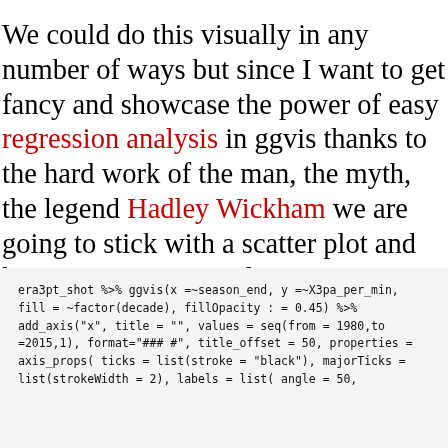We could do this visually in any number of ways but since I want to get fancy and showcase the power of easy regression analysis in ggvis thanks to the hard work of the man, the myth, the legend Hadley Wickham we are going to stick with a scatter plot and layer on a regression line.
era3pt_shot %>%
      ggvis(x =~season_end, y =~X3pa_per_min, fill = ~factor(decade), fillOpacity := 0.45) %>%
      add_axis("x", title = "", values = seq(from = 1980,to =2015,1), format="####", title_offset = 50,
                          properties = axis_props(
                              ticks = list(stroke = "black"),
                              majorTicks = list(strokeWidth = 2),
                              labels = list(
                                  angle = 50,